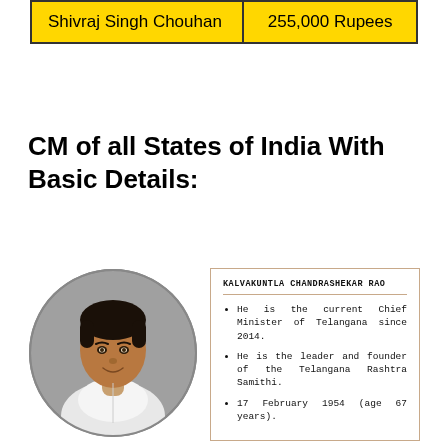| Name | Salary/Pay |
| --- | --- |
| Shivraj Singh Chouhan | 255,000 Rupees |
CM of all States of India With Basic Details:
[Figure (photo): Circular portrait photo of Kalvakuntla Chandrashekar Rao, Chief Minister of Telangana, wearing a white shirt, smiling, against a grey background.]
KALVAKUNTLA CHANDRASHEKAR RAO
• He is the current Chief Minister of Telangana since 2014.
• He is the leader and founder of the Telangana Rashtra Samithi.
• 17 February 1954 (age 67 years).